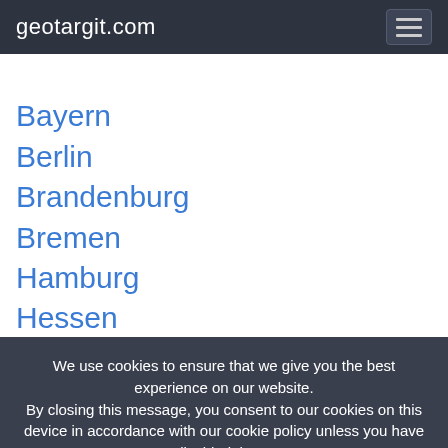geotargit.com
Bayern
Berlin
Brandenburg
Bremen
Hamburg
Hessen
Mecklenburg-Vorpommern
Niedersachsen
We use cookies to ensure that we give you the best experience on our website. By closing this message, you consent to our cookies on this device in accordance with our cookie policy unless you have disabled them.
I Agree!